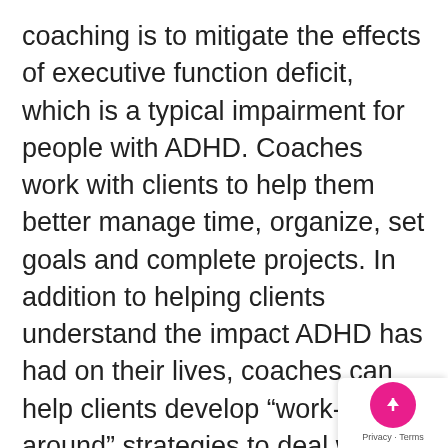coaching is to mitigate the effects of executive function deficit, which is a typical impairment for people with ADHD. Coaches work with clients to help them better manage time, organize, set goals and complete projects. In addition to helping clients understand the impact ADHD has had on their lives, coaches can help clients develop "work-around" strategies to deal with specific challenges, and determine and use individual strengths. Coaches also help clients get a better grasp of what reasonable expectations are for them as individuals, since people with ADHD "brain wiring" often seem to need external mirrors for accurate self-awareness about their potential despite their impairment.